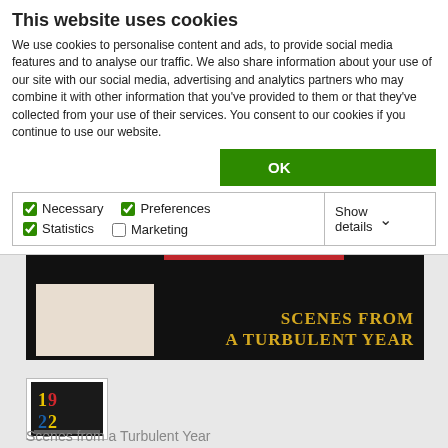This website uses cookies
We use cookies to personalise content and ads, to provide social media features and to analyse our traffic. We also share information about your use of our site with our social media, advertising and analytics partners who may combine it with other information that you've provided to them or that they've collected from your use of their services. You consent to our cookies if you continue to use our website.
OK
Necessary  Preferences  Statistics  Marketing  Show details
[Figure (illustration): Book cover banner showing 'SCENES FROM A TURBULENT YEAR' in gold text on black background with a red horizontal bar and a beige/cream panel on the left side.]
[Figure (illustration): Small thumbnail of a book cover with colorful geometric numbers '1922' on dark background.]
Scenes from a Turbulent Year